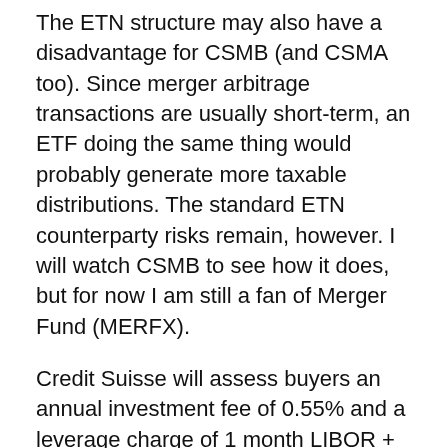The ETN structure may also have a disadvantage for CSMB (and CSMA too). Since merger arbitrage transactions are usually short-term, an ETF doing the same thing would probably generate more taxable distributions. The standard ETN counterparty risks remain, however. I will watch CSMB to see how it does, but for now I am still a fan of Merger Fund (MERFX).
Credit Suisse will assess buyers an annual investment fee of 0.55% and a leverage charge of 1 month LIBOR + 0.95%. More information is on the CSMB web page. I was unable to locate the final prospectus online, but you can view the preliminary version at the SEC web site.
Disclosure covering writer, editor, and publisher: Long MERFX. No positions in any of the companies or ETF